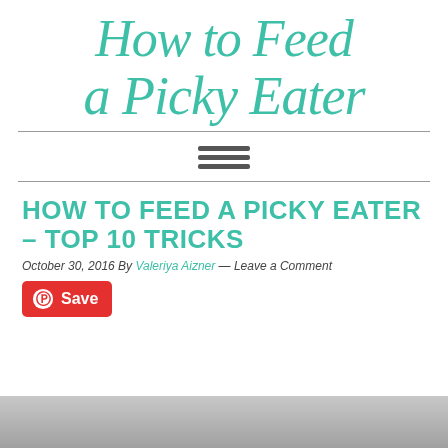How to Feed a Picky Eater
[Figure (other): Hamburger/menu icon with three horizontal bars]
HOW TO FEED A PICKY EATER – TOP 10 TRICKS
October 30, 2016 By Valeriya Aizner — Leave a Comment
[Figure (other): Pinterest Save button in red]
[Figure (photo): Bottom portion of a photo, partially visible at the bottom of the page]